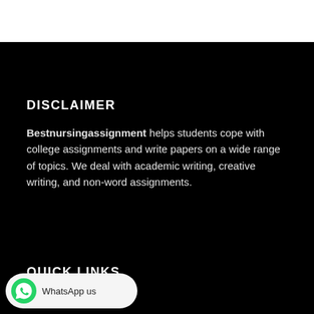DISCLAIMER
Bestnursingassignment helps students cope with college assignments and write papers on a wide range of topics. We deal with academic writing, creative writing, and non-word assignments.
QUICK LINKS
HOME
HOW IT WORKS
[Figure (logo): WhatsApp us button with green WhatsApp icon and rounded rectangle bubble]